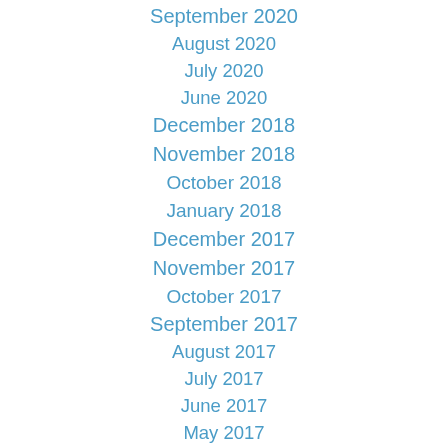September 2020
August 2020
July 2020
June 2020
December 2018
November 2018
October 2018
January 2018
December 2017
November 2017
October 2017
September 2017
August 2017
July 2017
June 2017
May 2017
April 2017
March 2017
February 2017
January 2017
December 2016